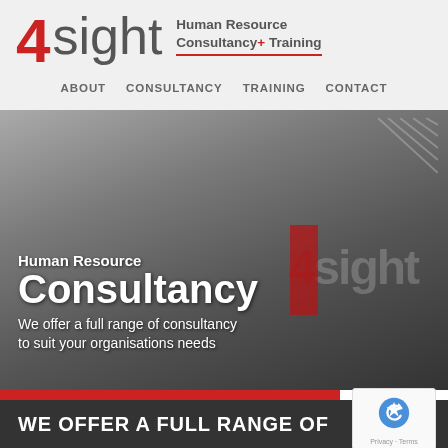[Figure (logo): 4sight Human Resource Consultancy + Training logo with red 4 and grey sight text, red underline]
ABOUT   CONSULTANCY   TRAINING   CONTACT
[Figure (photo): Grayscale photo of smiling business professionals group with overlaid 4sight watermark logo]
Human Resource Consultancy
We offer a full range of consultancy to suit your organisations needs
WE OFFER A FULL RANGE OF